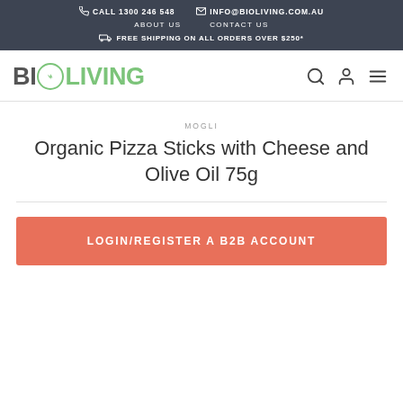CALL 1300 246 548   INFO@BIOLIVING.COM.AU   ABOUT US   CONTACT US   FREE SHIPPING ON ALL ORDERS OVER $250*
[Figure (logo): BIOLIVING logo with leaf icon, navigation icons for search, account, and menu]
MOGLI
Organic Pizza Sticks with Cheese and Olive Oil 75g
LOGIN/REGISTER A B2B ACCOUNT